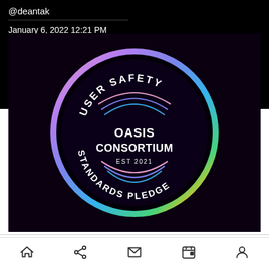@deantak
January 6, 2022 12:21 PM
[Figure (logo): Circular badge logo with rainbow gradient outer ring on dark background. Text reads 'USER SAFETY' at top arc, 'OASIS CONSORTIUM' in center bold text, 'EST 2021' below center, and 'STANDARDS PLEDGE' at bottom arc. Decorative curved lines in rainbow colors inside the circle.]
The Oasis Consortium wants the internet to be safe.